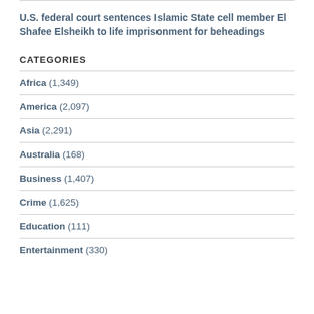U.S. federal court sentences Islamic State cell member El Shafee Elsheikh to life imprisonment for beheadings
CATEGORIES
Africa (1,349)
America (2,097)
Asia (2,291)
Australia (168)
Business (1,407)
Crime (1,625)
Education (111)
Entertainment (330)